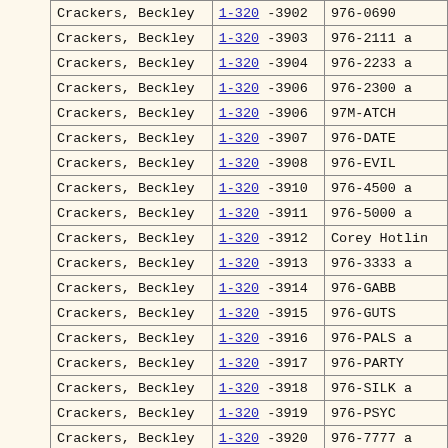| Name | Number | Description |
| --- | --- | --- |
| Crackers, Beckley | 1-320-3902 | 976-0690 |
| Crackers, Beckley | 1-320-3903 | 976-2111 a |
| Crackers, Beckley | 1-320-3904 | 976-2233 a |
| Crackers, Beckley | 1-320-3906 | 976-2300 a |
| Crackers, Beckley | 1-320-3906 | 97M-ATCH |
| Crackers, Beckley | 1-320-3907 | 976-DATE |
| Crackers, Beckley | 1-320-3908 | 976-EVIL |
| Crackers, Beckley | 1-320-3910 | 976-4500 a |
| Crackers, Beckley | 1-320-3911 | 976-5000 a |
| Crackers, Beckley | 1-320-3912 | Corey Hotlin |
| Crackers, Beckley | 1-320-3913 | 976-3333 a |
| Crackers, Beckley | 1-320-3914 | 976-GABB |
| Crackers, Beckley | 1-320-3915 | 976-GUTS |
| Crackers, Beckley | 1-320-3916 | 976-PALS a |
| Crackers, Beckley | 1-320-3917 | 976-PARTY |
| Crackers, Beckley | 1-320-3918 | 976-SILK a |
| Crackers, Beckley | 1-320-3919 | 976-PSYC |
| Crackers, Beckley | 1-320-3920 | 976-7777 a |
| Crackers, Beckley | 1-320-3921 | 976-7979 a |
| Crackers, Beckley | 1-320-3922 | 976-TALK a |
| Crackers, Beckley | 1-320-3923 | 976-THUY |